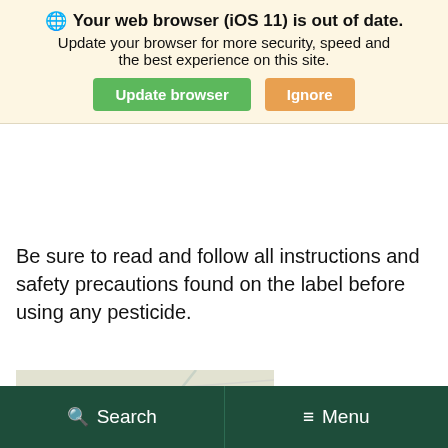Control for homeowners, or Tempo for commercial applicators, or one of the Ortho products.
Your web browser (iOS 11) is out of date. Update your browser for more security, speed and the best experience on this site. [Update browser] [Ignore]
Be sure to read and follow all instructions and safety precautions found on the label before using any pesticide.
[Figure (photo): Close-up photograph of a house centipede on a light-colored surface, showing its many legs and segmented body.]
Search   Menu